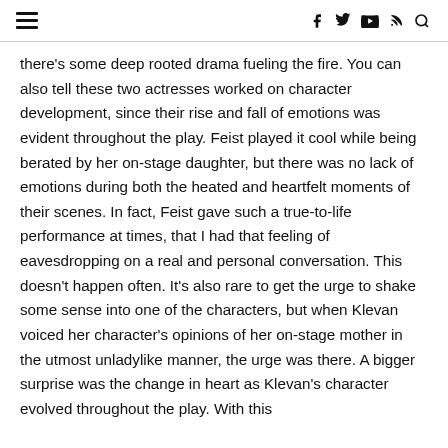☰  f  𝕿  ▶  ⊳  🔍
there's some deep rooted drama fueling the fire. You can also tell these two actresses worked on character development, since their rise and fall of emotions was evident throughout the play. Feist played it cool while being berated by her on-stage daughter, but there was no lack of emotions during both the heated and heartfelt moments of their scenes. In fact, Feist gave such a true-to-life performance at times, that I had that feeling of eavesdropping on a real and personal conversation. This doesn't happen often. It's also rare to get the urge to shake some sense into one of the characters, but when Klevan voiced her character's opinions of her on-stage mother in the utmost unladylike manner, the urge was there. A bigger surprise was the change in heart as Klevan's character evolved throughout the play. With this